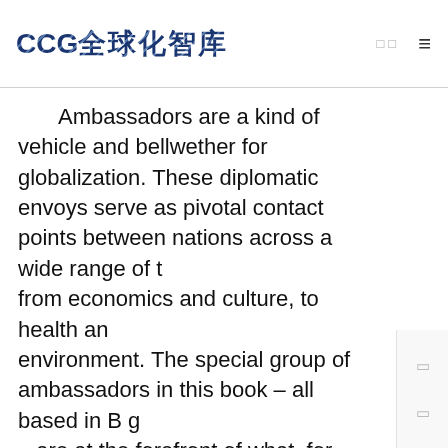CCG 全球化智库 □□ ≡
Ambassadors are a kind of vehicle and bellwether for globalization. These diplomatic envoys serve as pivotal contact points between nations across a wide range of [topics] from economics and culture, to health and [the] environment. The special group of ambassadors in this book – all based in B[eijin]g – are at the forefront of what, for many countries, is one of their most important bilateral relationships and the platform fo[r] one of the most striking and consequential developments in global affairs in